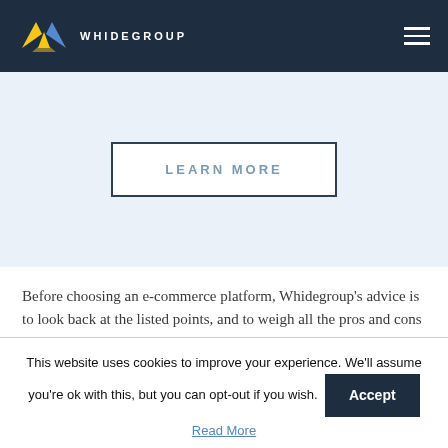WHIDEGROUP
[Figure (other): LEARN MORE button on light blue banner background]
Before choosing an e-commerce platform, Whidegroup’s advice is to look back at the listed points, and to weigh all the pros and cons of each e-commerce platform to decide which one suits your business needs best. Below, we will try to help you make the right decision by reviewing and comparing the performance of different e-
This website uses cookies to improve your experience. We’ll assume you’re ok with this, but you can opt-out if you wish.
Read More